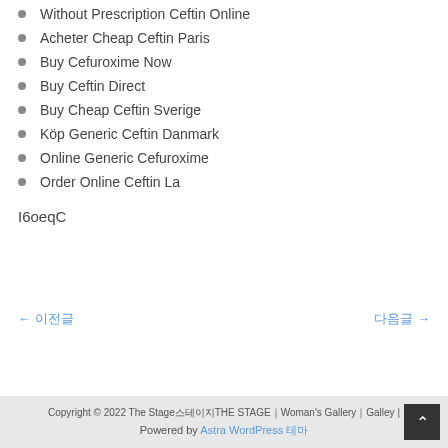Without Prescription Ceftin Online
Acheter Cheap Ceftin Paris
Buy Cefuroxime Now
Buy Ceftin Direct
Buy Cheap Ceftin Sverige
Köp Generic Ceftin Danmark
Online Generic Cefuroxime
Order Online Ceftin La
I6oeqC
← 이전글    다음글 →
Copyright © 2022 The Stage스테이지THE STAGE｜Woman's Gallery｜Galley | Powered by Astra WordPress 테마